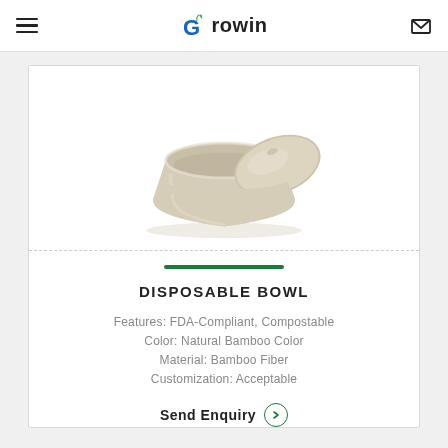Growin — navigation header with hamburger menu and mail icon
[Figure (photo): Two beige/cream disposable bamboo fiber bowls, one stacked on the other at an angle, with a lid partially visible, photographed on a white background]
DISPOSABLE BOWL
Features: FDA-Compliant, Compostable
Color: Natural Bamboo Color
Material: Bamboo Fiber
Customization: Acceptable
Send Enquiry